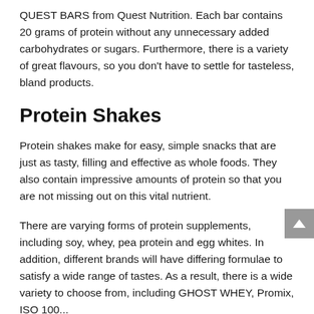QUEST BARS from Quest Nutrition. Each bar contains 20 grams of protein without any unnecessary added carbohydrates or sugars. Furthermore, there is a variety of great flavours, so you don't have to settle for tasteless, bland products.
Protein Shakes
Protein shakes make for easy, simple snacks that are just as tasty, filling and effective as whole foods. They also contain impressive amounts of protein so that you are not missing out on this vital nutrient.
There are varying forms of protein supplements, including soy, whey, pea protein and egg whites. In addition, different brands will have differing formulae to satisfy a wide range of tastes. As a result, there is a wide variety to choose from, including GHOST WHEY, Promix, ISO 100...